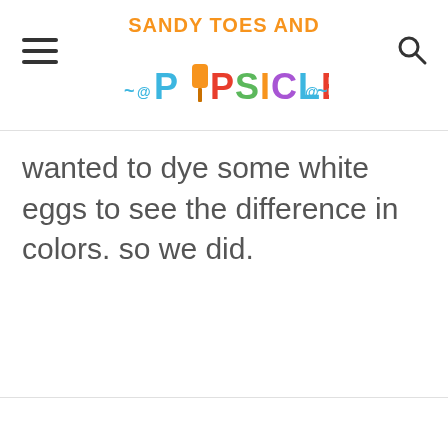Sandy Toes and Popsicles
wanted to dye some white eggs to see the difference in colors. so we did.